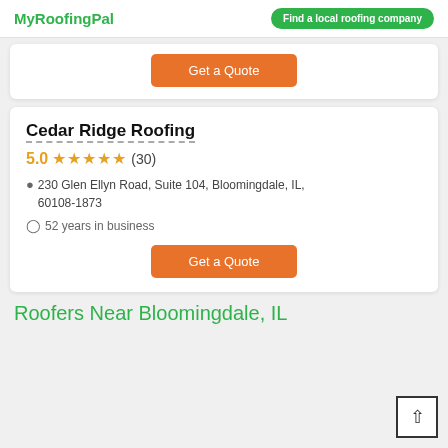MyRoofingPal | Find a local roofing company
Get a Quote
Cedar Ridge Roofing
5.0 ★★★★★ (30)
230 Glen Ellyn Road, Suite 104, Bloomingdale, IL, 60108-1873
52 years in business
Get a Quote
Roofers Near Bloomingdale, IL